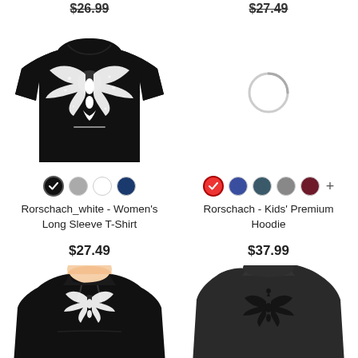$26.99
$27.49
[Figure (photo): Black women's long sleeve t-shirt with white Rorschach inkblot design on front]
[Figure (other): Loading spinner / gray circular loading indicator]
Color swatches: black (selected), gray, white, navy
Color swatches: red (selected), blue, dark teal, gray, dark red, plus more
Rorschach_white - Women's Long Sleeve T-Shirt
Rorschach - Kids' Premium Hoodie
$27.49
$37.99
[Figure (photo): Black kids premium hoodie front view with white Rorschach design]
[Figure (photo): Dark gray kids hoodie back view with dark Rorschach design on back]